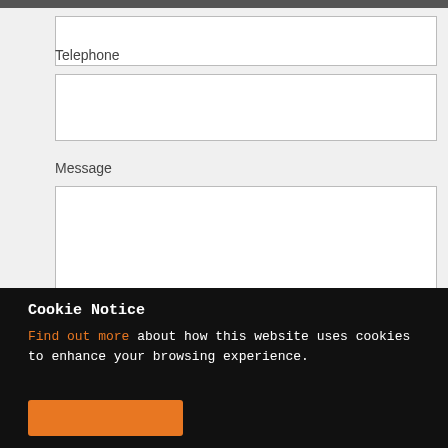Telephone
Message
Cookie Notice
Find out more about how this website uses cookies to enhance your browsing experience.